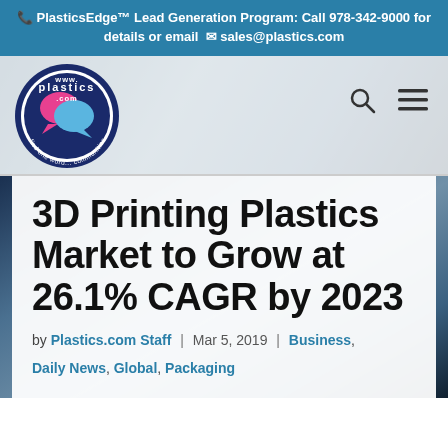PlasticsEdge™ Lead Generation Program: Call 978-342-9000 for details or email sales@plastics.com
[Figure (logo): plastics.com circular logo with pink and blue speech bubble icons and text 'find one word... communities']
3D Printing Plastics Market to Grow at 26.1% CAGR by 2023
by Plastics.com Staff | Mar 5, 2019 | Business, Daily News, Global, Packaging